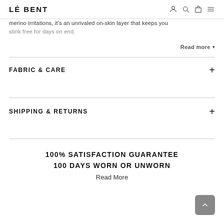LÉ BENT
merino irritations, it's an unrivaled on-skin layer that keeps you stink free for days on end.
Read more ▾
FABRIC & CARE
SHIPPING & RETURNS
100% SATISFACTION GUARANTEE
100 DAYS WORN OR UNWORN
Read More